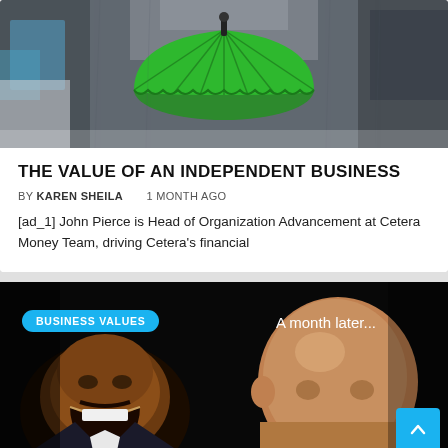[Figure (photo): Green umbrella in a dark alley street scene, viewed from behind/above]
THE VALUE OF AN INDEPENDENT BUSINESS
BY KAREN SHEILA   1 MONTH AGO
[ad_1] John Pierce is Head of Organization Advancement at Cetera Money Team, driving Cetera's financial
[Figure (photo): Dark image with two faces (Steve Harvey laughing on left, bald person on right), BUSINESS VALUES badge overlay, text 'A month later...']